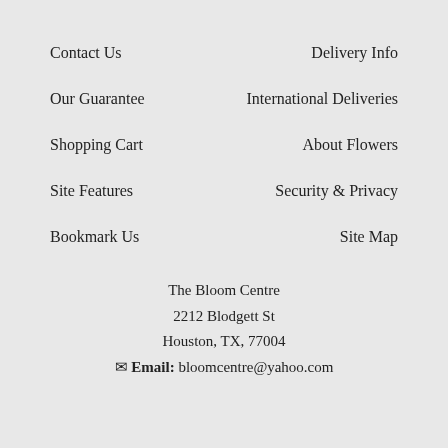Contact Us
Delivery Info
Our Guarantee
International Deliveries
Shopping Cart
About Flowers
Site Features
Security & Privacy
Bookmark Us
Site Map
The Bloom Centre
2212 Blodgett St
Houston, TX, 77004
✉ Email: bloomcentre@yahoo.com